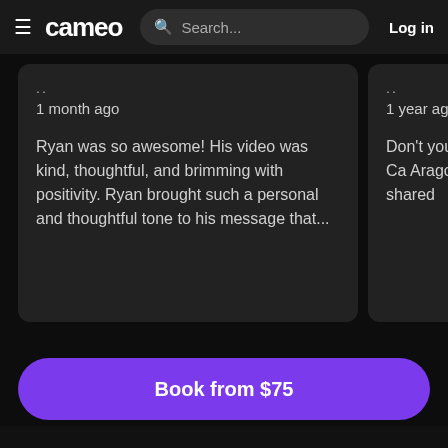cameo  Search...  Log in
1 month ago

Ryan was so awesome! His video was kind, thoughtful, and brimming with positivity.  Ryan brought such a personal and thoughtful tone to his message that...
1 year ago

Don't you singing Ca Aragon on you shared
Book from $75
Learn more